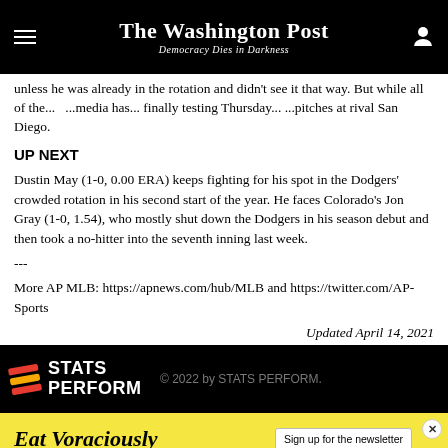The Washington Post — Democracy Dies in Darkness
unless he was already in the rotation and didn't see it that way. But while all of the... ...media has... finally testing Thursday... ...pitches at rival San Diego.
UP NEXT
Dustin May (1-0, 0.00 ERA) keeps fighting for his spot in the Dodgers' crowded rotation in his second start of the year. He faces Colorado's Jon Gray (1-0, 1.54), who mostly shut down the Dodgers in his season debut and then took a no-hitter into the seventh inning last week.
---
More AP MLB: https://apnews.com/hub/MLB and https://twitter.com/AP-Sports
Updated April 14, 2021
[Figure (logo): STATS PERFORM logo with colored stripes and copyright notice: © 2022 by STATS PERFORM.]
[Figure (infographic): Eat Voraciously advertisement banner with yellow background, Sign up for the newsletter button, and tagline: Get one quick recipe in your inbox every Monday through Thursday.]